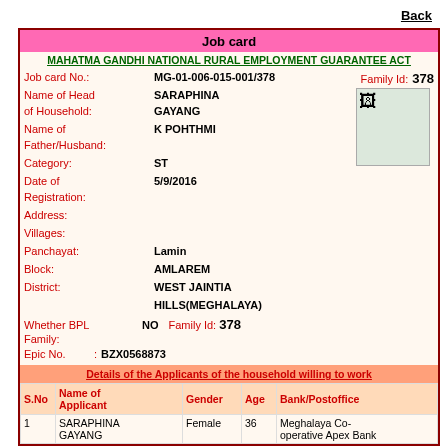Back
Job card
MAHATMA GANDHI NATIONAL RURAL EMPLOYMENT GUARANTEE ACT
Job card No.: MG-01-006-015-001/378   Family Id: 378
Name of Head of Household: SARAPHINA GAYANG
Name of Father/Husband: K POHTHMI
Category: ST
Date of Registration: 5/9/2016
Address:
Villages:
Panchayat: Lamin
Block: AMLAREM
District: WEST JAINTIA HILLS(MEGHALAYA)
Whether BPL Family: NO   Family Id: 378
Epic No.: BZX0568873
Details of the Applicants of the household willing to work
| S.No | Name of Applicant | Gender | Age | Bank/Postoffice |
| --- | --- | --- | --- | --- |
| 1 | SARAPHINA GAYANG | Female | 36 | Meghalaya Co-operative Apex Bank |